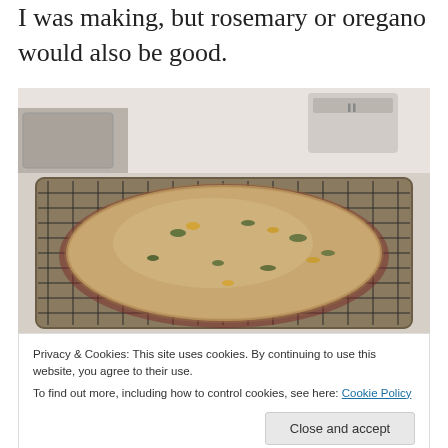I was making, but rosemary or oregano would also be good.
[Figure (photo): A large oval flatbread loaf with herbs baked in, cooling on a wire rack set on a baking sheet, on a kitchen counter.]
Privacy & Cookies: This site uses cookies. By continuing to use this website, you agree to their use.
To find out more, including how to control cookies, see here: Cookie Policy
Close and accept